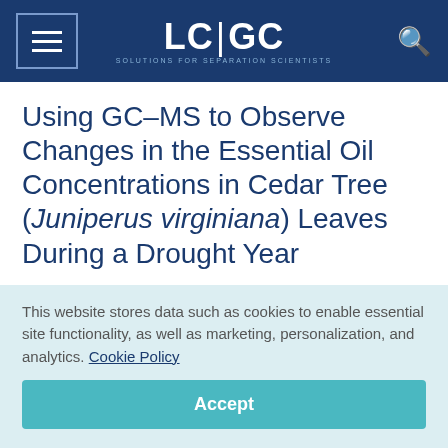LC|GC SOLUTIONS FOR SEPARATION SCIENTISTS
Using GC–MS to Observe Changes in the Essential Oil Concentrations in Cedar Tree (Juniperus virginiana) Leaves During a Drought Year
This website stores data such as cookies to enable essential site functionality, as well as marketing, personalization, and analytics. Cookie Policy
Accept
Deny